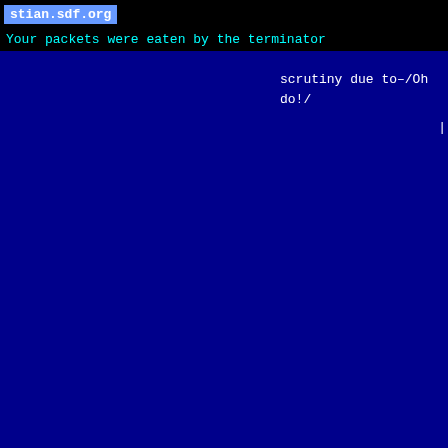stian.sdf.org
Your packets were eaten by the terminator
scrutiny due to-/Oh
do!/
|